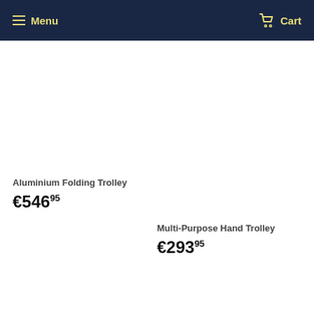Menu  Cart
Aluminium Folding Trolley
€546.95
Multi-Purpose Hand Trolley
€293.95